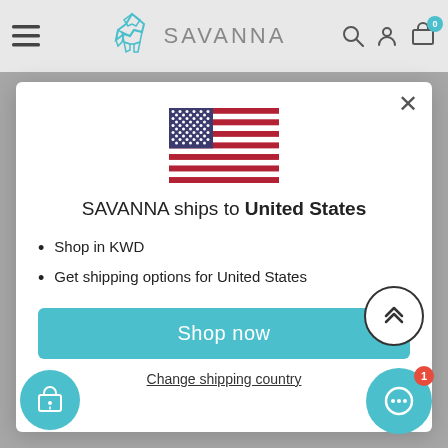[Figure (screenshot): SAVANNA e-commerce website header with hamburger menu, geometric elephant logo, SAVANNA text, search icon, user icon, and cart icon with badge showing 0]
[Figure (illustration): United States flag SVG illustration]
SAVANNA ships to United States
Shop in KWD
Get shipping options for United States
Shop now
Change shipping country